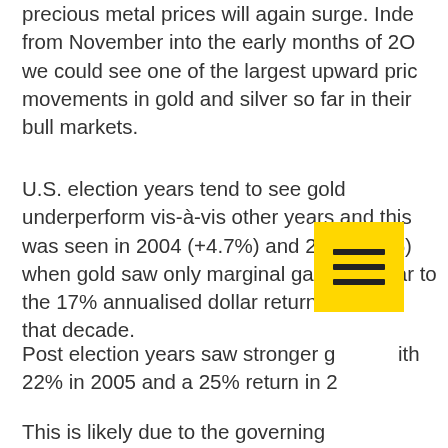precious metal prices will again surge. Inde from November into the early months of 20 we could see one of the largest upward pric movements in gold and silver so far in their bull markets.
U.S. election years tend to see gold underperform vis-à-vis other years and this was seen in 2004 (+4.7%) and 2008 (+5%) when gold saw only marginal gains compar to the 17% annualised dollar returns seen in that decade.
Post election years saw stronger g ith 22% in 2005 and a 25% return in 2
This is likely due to the governing